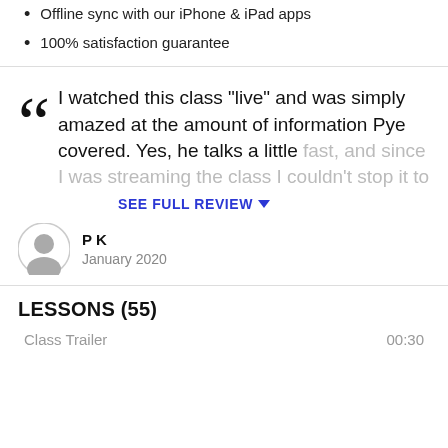Offline sync with our iPhone & iPad apps
100% satisfaction guarantee
I watched this class "live" and was simply amazed at the amount of information Pye covered. Yes, he talks a little fast, and since I was streaming the class I couldn't stop it to
SEE FULL REVIEW
P K
January 2020
LESSONS (55)
Class Trailer
00:30